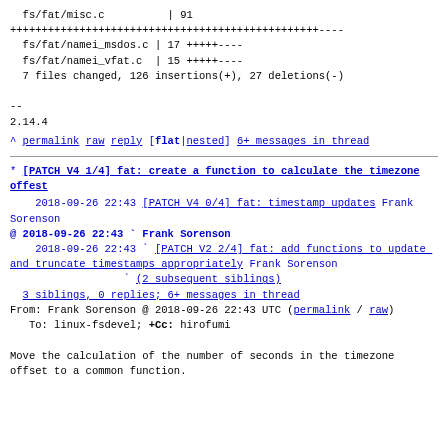fs/fat/misc.c          | 91
++++++++++++++++++++++++++++++++++++++++++++++++----
  fs/fat/namei_msdos.c | 17 +++++----
  fs/fat/namei_vfat.c  | 15 +++++----
  7 files changed, 126 insertions(+), 27 deletions(-)

--
2.14.4
^ permalink raw reply    [flat|nested] 6+ messages in thread
* [PATCH V4 1/4] fat: create a function to calculate the timezone offest
2018-09-26 22:43 [PATCH V4 0/4] fat: timestamp updates Frank Sorenson
@ 2018-09-26 22:43 ` Frank Sorenson
   2018-09-26 22:43 ` [PATCH V2 2/4] fat: add functions to update and truncate timestamps appropriately Frank Sorenson
                  ` (2 subsequent siblings)
  3 siblings, 0 replies; 6+ messages in thread
From: Frank Sorenson @ 2018-09-26 22:43 UTC (permalink / raw)
   To: linux-fsdevel; +Cc: hirofumi

Move the calculation of the number of seconds in the timezone
offset to a common function.